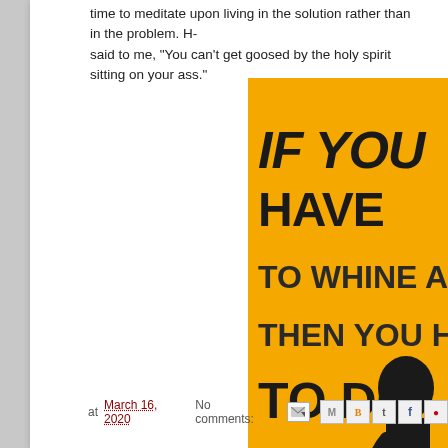time to meditate upon living in the solution rather than in the problem. H- said to me, "You can't get goosed by the holy spirit sitting on your ass."
[Figure (illustration): Yellow poster with hand-lettered text reading 'IF YOU HAVE TO WHINE AND THEN YOU HA- TO DO SOMETHING ABOUT IT.' with an illustrated character holding a coffee mug, signed 'KAREN @...']
at March 16, 2020   No comments: